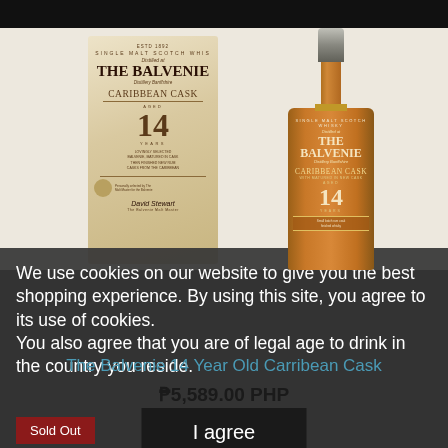[Figure (photo): The Balvenie Caribbean Cask 14 Year Old whisky bottle and box/tube packaging on white background]
We use cookies on our website to give you the best shopping experience. By using this site, you agree to its use of cookies.
You also agree that you are of legal age to drink in the country you reside.
The Balvenie 14 Year Old Carribean Cask
₱5,589.00 PHP
I agree
Sold Out